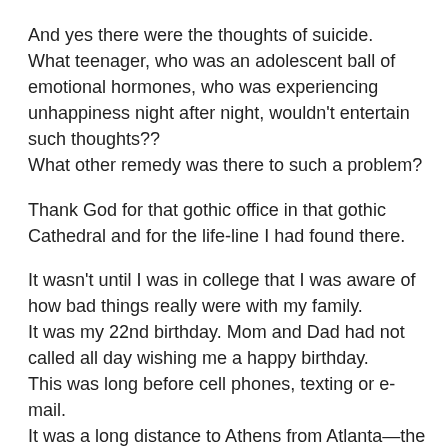And yes there were the thoughts of suicide. What teenager, who was an adolescent ball of emotional hormones, who was experiencing unhappiness night after night, wouldn't entertain such thoughts?? What other remedy was there to such a problem?
Thank God for that gothic office in that gothic Cathedral and for the life-line I had found there.
It wasn't until I was in college that I was aware of how bad things really were with my family. It was my 22nd birthday. Mom and Dad had not called all day wishing me a happy birthday. This was long before cell phones, texting or e-mail. It was a long distance to Athens from Atlanta—the rates went down after 5PM so I was expecting my call.